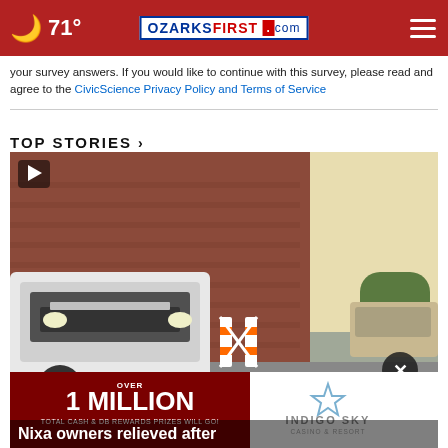71° | OzarksFirst.com
your survey answers. If you would like to continue with this survey, please read and agree to the CivicScience Privacy Policy and Terms of Service
TOP STORIES ›
[Figure (photo): Video thumbnail showing a white Chevrolet SUV in a parking lot with road barriers and a colorful mural on the ground, with an advertisement overlay for Indigo Sky Casino & Resort (Over 1 Million Total Cash & DB Rewards Prizes Will Go!) and a close button. Partial headline visible: Nixa owners relieved after]
Nixa owners relieved after